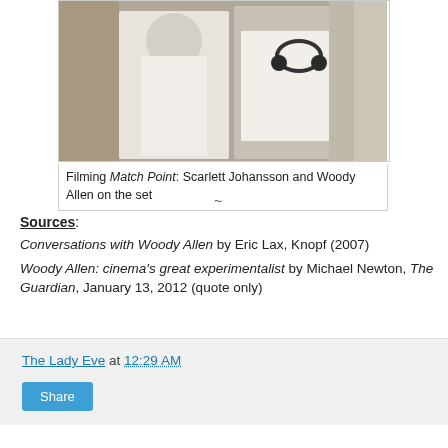[Figure (photo): Scarlett Johansson and Woody Allen on the set of Match Point. Johansson wears a white dress; Allen wears a white shirt with headphones around his neck.]
Filming Match Point: Scarlett Johansson and Woody Allen on the set
~
Sources:
Conversations with Woody Allen by Eric Lax, Knopf (2007)
Woody Allen: cinema's great experimentalist by Michael Newton, The Guardian, January 13, 2012 (quote only)
The Lady Eve at 12:29 AM
Share